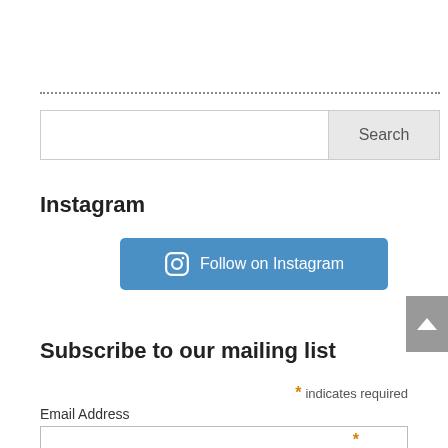[Figure (other): Dotted horizontal rule separator]
[Figure (screenshot): Search bar with text input and Search button]
Instagram
[Figure (other): Blue button with Instagram icon and text: Follow on Instagram]
Subscribe to our mailing list
* indicates required
Email Address